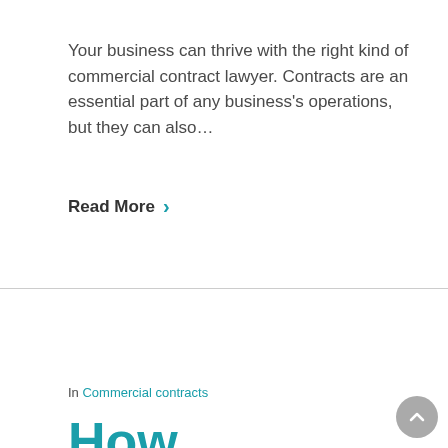Your business can thrive with the right kind of commercial contract lawyer. Contracts are an essential part of any business's operations, but they can also...
Read More >
In Commercial contracts
How Contract